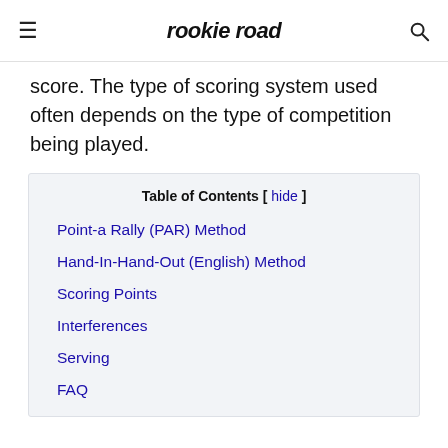rookie road
score. The type of scoring system used often depends on the type of competition being played.
| Table of Contents |
| --- |
| Point-a Rally (PAR) Method |
| Hand-In-Hand-Out (English) Method |
| Scoring Points |
| Interferences |
| Serving |
| FAQ |